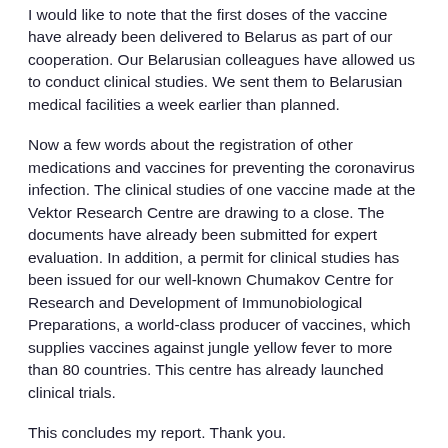I would like to note that the first doses of the vaccine have already been delivered to Belarus as part of our cooperation. Our Belarusian colleagues have allowed us to conduct clinical studies. We sent them to Belarusian medical facilities a week earlier than planned.
Now a few words about the registration of other medications and vaccines for preventing the coronavirus infection. The clinical studies of one vaccine made at the Vektor Research Centre are drawing to a close. The documents have already been submitted for expert evaluation. In addition, a permit for clinical studies has been issued for our well-known Chumakov Centre for Research and Development of Immunobiological Preparations, a world-class producer of vaccines, which supplies vaccines against jungle yellow fever to more than 80 countries. This centre has already launched clinical trials.
This concludes my report. Thank you.